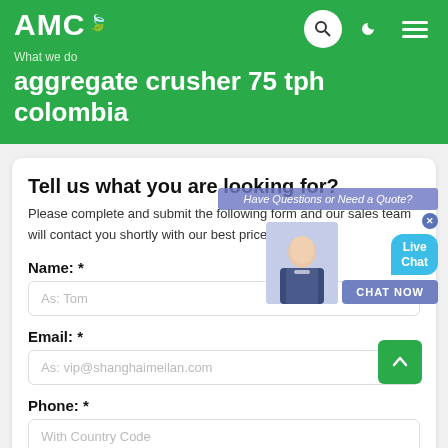AMC
What we do
aggregate crusher 75 tph colombia
Tell us what you are looking for?
Please complete and submit the following form and our sales team will contact you shortly with our best prices.
Name: *
As: Tom
Email: *
As: vip@shanghaimeilan.com
Phone: *
With Country Code